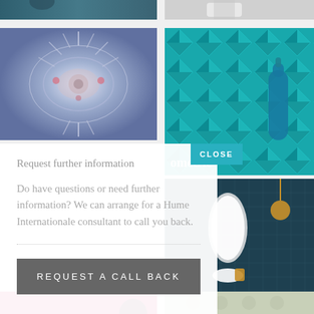[Figure (photo): Top-left cropped image showing dark teal textured fabric or surface]
[Figure (photo): Top-right cropped image showing light grey/white surface or bathroom item]
[Figure (photo): Mid-left image showing colorful abstract floral/feather kaleidoscope pattern in blue, white and pink tones]
[Figure (photo): Mid-right image showing teal geometric 3D panel wall with a teal glass bottle, labeled 'ometric']
CLOSE
Request further information
Do have questions or need further information? We can arrange for a Hume Internationale consultant to call you back.
REQUEST A CALL BACK
[Figure (photo): Right column bathroom image showing dark teal tiled wall, round mirror, white basin, gold tap and pendant light, labeled 'Jakar']
[Figure (photo): Bottom-left cropped image showing pink/magenta striped wallpaper with dark silhouette]
[Figure (photo): Bottom-right cropped image showing light sage/cream floral damask wallpaper]